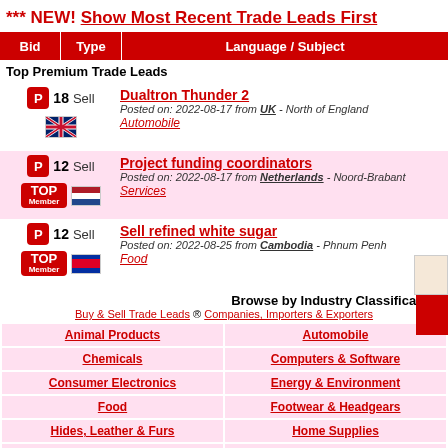*** NEW! Show Most Recent Trade Leads First
| Bid | Type | Language / Subject |
| --- | --- | --- |
| Top Premium Trade Leads |  |  |
| P 18 Sell |  | Dualtron Thunder 2
Posted on: 2022-08-17 from UK - North of England
Automobile |
| P 12 Sell |  | Project funding coordinators
Posted on: 2022-08-17 from Netherlands - Noord-Brabant
Services |
| P 12 Sell |  | Sell refined white sugar
Posted on: 2022-08-25 from Cambodia - Phnum Penh
Food |
Browse by Industry Classification
Buy & Sell Trade Leads ® Companies, Importers & Exporters
Animal Products
Automobile
Chemicals
Computers & Software
Consumer Electronics
Energy & Environment
Food
Footwear & Headgears
Hides, Leather & Furs
Home Supplies
Machinery & Electronics
Mineral Products
Plastics & Rubbers
Services